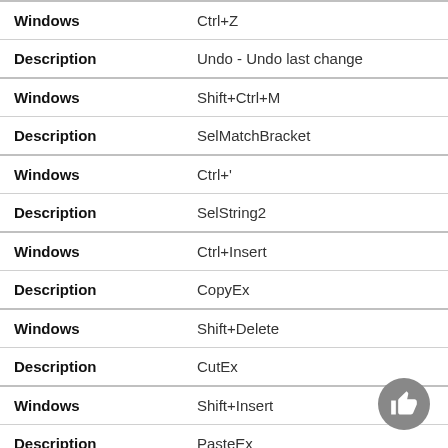| Field | Value |
| --- | --- |
| Windows | Ctrl+Z |
| Description | Undo - Undo last change |
| Windows | Shift+Ctrl+M |
| Description | SelMatchBracket |
| Windows | Ctrl+' |
| Description | SelString2 |
| Windows | Ctrl+Insert |
| Description | CopyEx |
| Windows | Shift+Delete |
| Description | CutEx |
| Windows | Shift+Insert |
| Description | PasteEx |